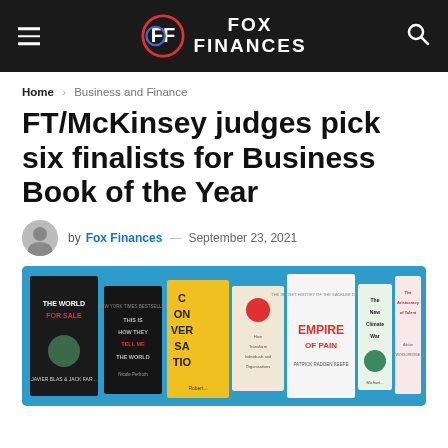FOX FINANCES
Home > Business and Finance
FT/McKinsey judges pick six finalists for Business Book of the Year
by Fox Finances — September 23, 2021
[Figure (photo): Promotional banner showing six book covers including The World For Sale, This Is How They Tell Me the World Ends, Conversations, Empire of Pain, The New Climate War, and The Aristocracy of Talent — FT/McKinsey Business Book of the Year finalists on a blue background.]